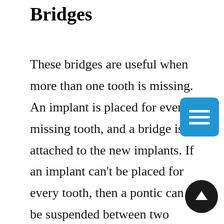Bridges
These bridges are useful when more than one tooth is missing. An implant is placed for every missing tooth, and a bridge is attached to the new implants. If an implant can't be placed for every tooth, then a pontic can be suspended between two